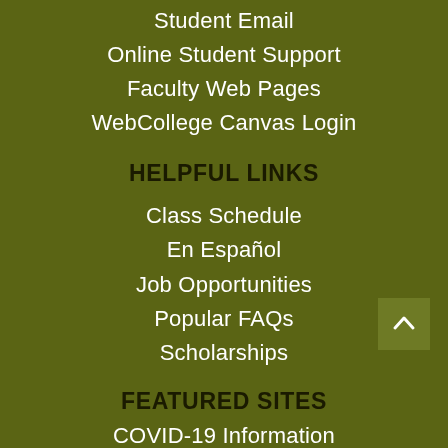Student Email
Online Student Support
Faculty Web Pages
WebCollege Canvas Login
HELPFUL LINKS
Class Schedule
En Español
Job Opportunities
Popular FAQs
Scholarships
FEATURED SITES
COVID-19 Information